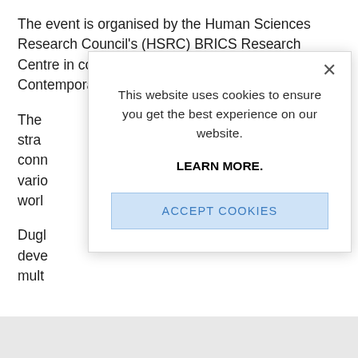The event is organised by the Human Sciences Research Council's (HSRC) BRICS Research Centre in collaboration with the Academy of Contemporary Chin...
The stra... conn... vario... worl...
Dugl... deve... mult...
[Figure (screenshot): Cookie consent modal dialog with close button (×), message 'This website uses cookies to ensure you get the best experience on our website.', a 'LEARN MORE.' bold link, and an 'ACCEPT COOKIES' button with light blue background.]